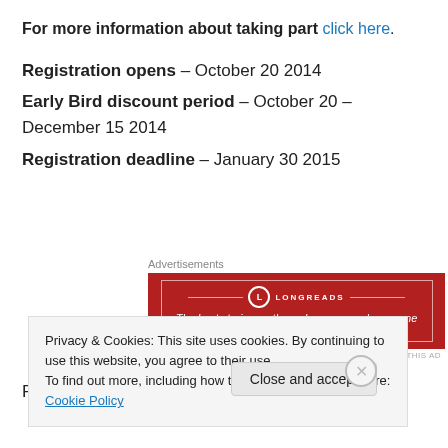For more information about taking part click here.
Registration opens – October 20 2014
Early Bird discount period – October 20 – December 15 2014
Registration deadline – January 30 2015
[Figure (other): Longreads advertisement banner: red background with white border, logo circle with L, text: The best stories on the web – ours, and everyone else's.]
For information on ticket settlements, click here.
Privacy & Cookies: This site uses cookies. By continuing to use this website, you agree to their use. To find out more, including how to control cookies, see here: Cookie Policy